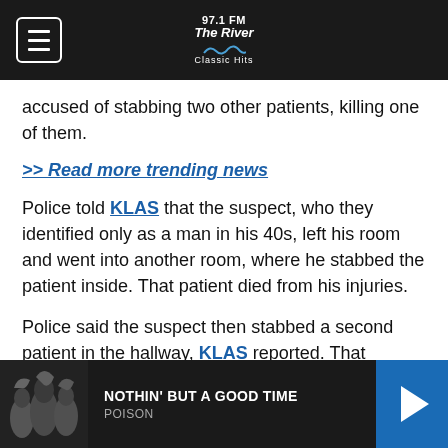97.1 FM The River Classic Hits
accused of stabbing two other patients, killing one of them.
>> Read more trending news
Police told KLAS that the suspect, who they identified only as a man in his 40s, left his room and went into another room, where he stabbed the patient inside. That patient died from his injuries.
Police said the suspect then stabbed a second patient in the hallway, KLAS reported. That second patient was able to escape.
NOTHIN' BUT A GOOD TIME — POISON